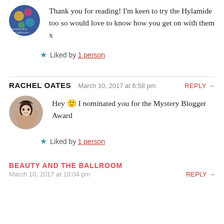Thank you for reading! I'm keen to try the Hylamide too so would love to know how you get on with them x
Liked by 1 person
RACHEL OATES   March 10, 2017 at 6:58 pm   REPLY →
Hey 🙂 I nominated you for the Mystery Blogger Award
Liked by 1 person
BEAUTY AND THE BALLROOM
March 10, 2017 at 10:04 pm   REPLY →